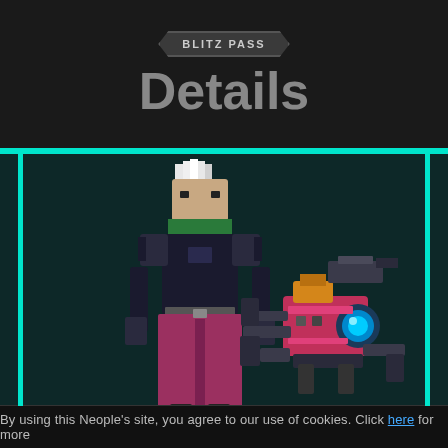BLITZ PASS
Details
[Figure (illustration): Pixel art of a tall character in dark armor with white hair and a pink/magenta long coat, standing next to a mechanical spider/robot creature in pink and gold colors, on a dark teal background with cyan vertical accent lines on left and right sides.]
By using this Neople's site, you agree to our use of cookies. Click here for more